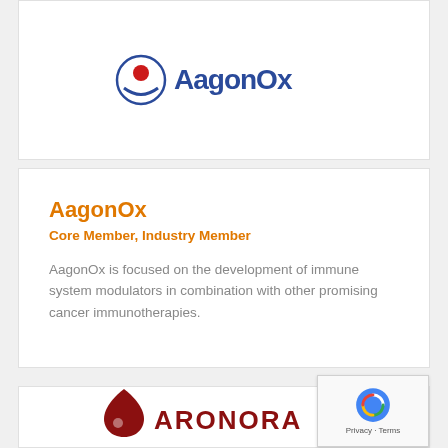[Figure (logo): AagonOx company logo — blue and orange circular icon with 'AagonOx' text]
AagonOx
Core Member, Industry Member
AagonOx is focused on the development of immune system modulators in combination with other promising cancer immunotherapies.
[Figure (logo): Aronora company logo — dark red droplet icon with 'ARONORA' text]